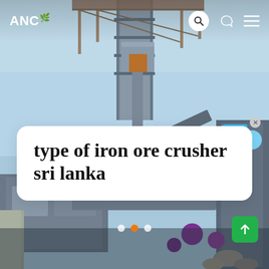[Figure (photo): Industrial iron ore crushing machinery / conveyor equipment photographed from below against a light blue sky, showing grey metal framework, hoppers, and structural steel with purple pipes and rock/aggregate at the bottom.]
ANC 🌿
type of iron ore crusher sri lanka
Live Chat